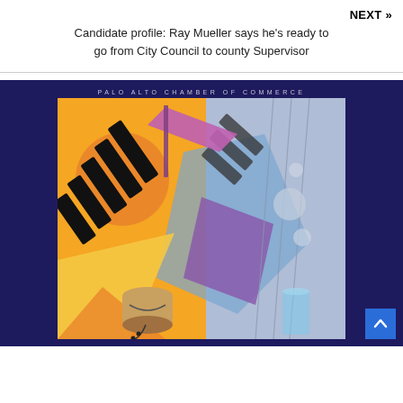NEXT »
Candidate profile: Ray Mueller says he's ready to go from City Council to county Supervisor
[Figure (illustration): Colorful jazz/music themed illustration with piano keys, bongo drum, music flag, geometric shapes in orange, yellow, purple, and blue tones. Text at top reads 'PALO ALTO CHAMBER OF COMMERCE' in spaced letters on dark navy background.]